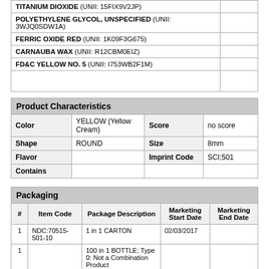| Ingredient |  |
| --- | --- |
| TITANIUM DIOXIDE (UNII: 15FIX9V2JP) |  |
| POLYETHYLENE GLYCOL, UNSPECIFIED (UNII: 3WJQ0SDW1A) |  |
| FERRIC OXIDE RED (UNII: 1K09F3G675) |  |
| CARNAUBA WAX (UNII: R12CBM0EIZ) |  |
| FD&C YELLOW NO. 5 (UNII: I753WB2F1M) |  |
Product Characteristics
| Color | YELLOW (Yellow Cream) | Score | no score |
| --- | --- | --- | --- |
| Shape | ROUND | Size | 8mm |
| Flavor |  | Imprint Code | SCI;501 |
| Contains |  |  |  |
Packaging
| # | Item Code | Package Description | Marketing Start Date | Marketing End Date |
| --- | --- | --- | --- | --- |
| 1 | NDC:70515-501-10 | 1 in 1 CARTON | 02/03/2017 |  |
| 1 |  | 100 in 1 BOTTLE; Type 0: Not a Combination Product |  |  |
Marketing Information